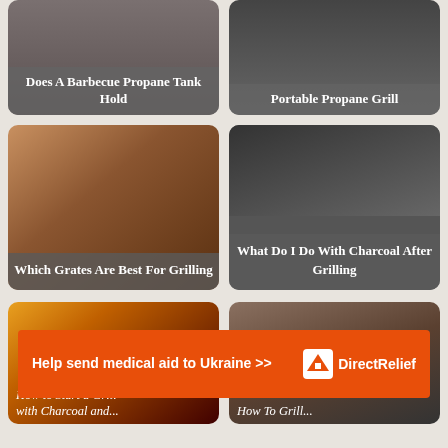[Figure (photo): Card with text: Does A Barbecue Propane Tank Hold]
[Figure (photo): Card with text: Portable Propane Grill]
[Figure (photo): Raw meat pieces image, card: Which Grates Are Best For Grilling]
[Figure (photo): Charcoal in grill image, card: What Do I Do With Charcoal After Grilling]
[Figure (photo): Grill with flames image, card: How to Start a Grill with Charcoal and...]
[Figure (photo): Meat in tray with glove image, card: How To Grill...]
Help send medical aid to Ukraine >>
[Figure (logo): Direct Relief logo]